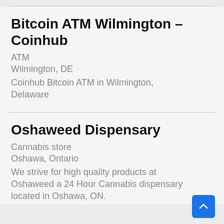Bitcoin ATM Wilmington – Coinhub
ATM
Wilmington, DE
Coinhub Bitcoin ATM in Wilmington, Delaware
Oshaweed Dispensary
Cannabis store
Oshawa, Ontario
We strive for high quality products at Oshaweed a 24 Hour Cannabis dispensary located in Oshawa, ON.